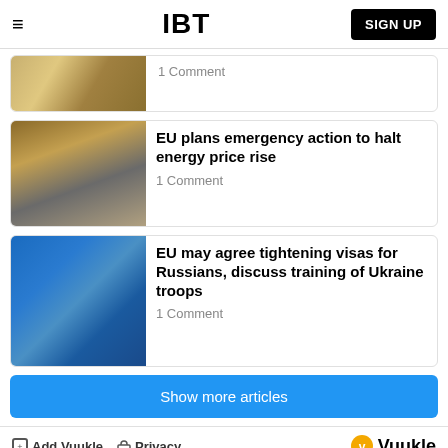IBT
[Figure (photo): Partial view of a person at a desk, cropped at top of page]
1 Comment
[Figure (photo): Solar panels or industrial metal structures outdoors]
EU plans emergency action to halt energy price rise
1 Comment
[Figure (photo): EU flags in front of a building, blue sky background]
EU may agree tightening visas for Russians, discuss training of Ukraine troops
1 Comment
Show more articles
Add Vuukle  Privacy  Vuukle